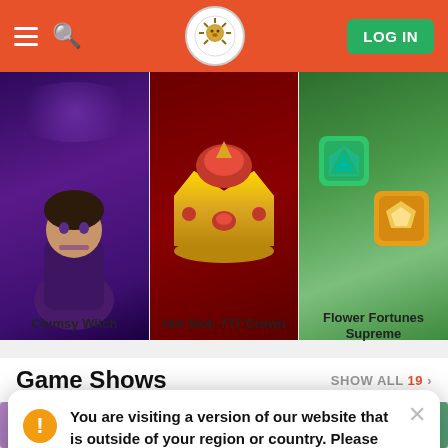LeoVegas Casino - LOG IN
[Figure (screenshot): Three casino game thumbnail images: Clumsy Witch (woman in witch costume), Hot Slot: 777 Crown (gold crown on red background), Flower Fortunes Supreme (green and gold gem shapes)]
Clumsy Witch
Hot Slot: 777 Crown
Flower Fortunes Supreme
Game Shows  SHOW ALL 19 >
You are visiting a version of our website that is outside of your region or country. Please visit the version of our website that is supported in your area.
TAKE ME THERE